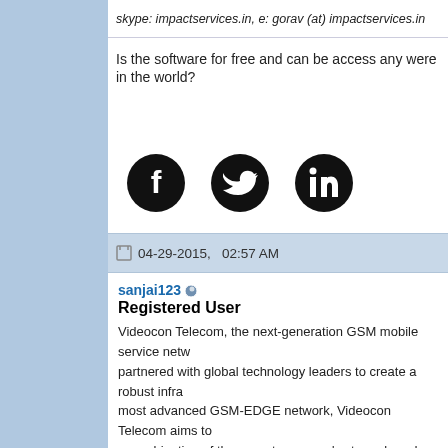skype: impactservices.in, e: gorav (at) impactservices.in
Is the software for free and can be access any were in the world?
[Figure (other): Three social media icon buttons: Facebook, Twitter, LinkedIn (black circles)]
04-29-2015,   02:57 AM
sanjai123
Registered User
Videocon Telecom, the next-generation GSM mobile service netw... partnered with global technology leaders to create a robust infra... most advanced GSM-EDGE network, Videocon Telecom aims to... a combination of the parent company's strong brand recall and re... endeavours to transform the life of every Indian consumer by cha... communicates.http://www.videocontelecom.com/
[Figure (other): Three social media icon buttons: Facebook, Twitter, LinkedIn (black circles)]
05-15-2015,   03:06 AM